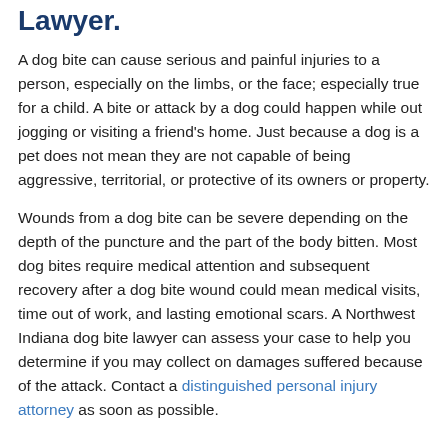Lawyer.
A dog bite can cause serious and painful injuries to a person, especially on the limbs, or the face; especially true for a child. A bite or attack by a dog could happen while out jogging or visiting a friend's home. Just because a dog is a pet does not mean they are not capable of being aggressive, territorial, or protective of its owners or property.
Wounds from a dog bite can be severe depending on the depth of the puncture and the part of the body bitten. Most dog bites require medical attention and subsequent recovery after a dog bite wound could mean medical visits, time out of work, and lasting emotional scars. A Northwest Indiana dog bite lawyer can assess your case to help you determine if you may collect on damages suffered because of the attack. Contact a distinguished personal injury attorney as soon as possible.